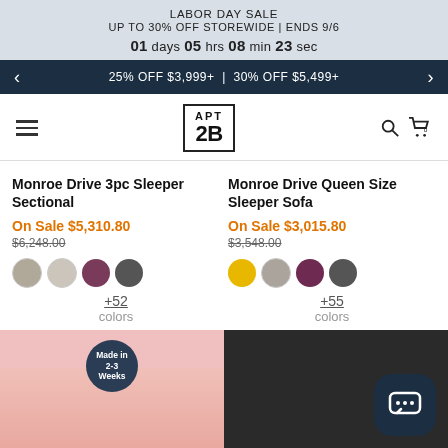LABOR DAY SALE
UP TO 30% OFF STOREWIDE | ENDS 9/6
01 days 05 hrs 08 min 23 sec
25% OFF $3,999+ | 30% OFF $5,499+
APT 2B
Monroe Drive 3pc Sleeper Sectional
On Sale $5,310.80
$6,248.00
+52 colors
Monroe Drive Queen Size Sleeper Sofa
On Sale $3,015.80
$3,548.00
+55 colors
[Figure (other): Pink sofa product image with Made in 2-3 Weeks badge]
[Figure (other): Dark gray tufted sofa product image with chat button overlay]